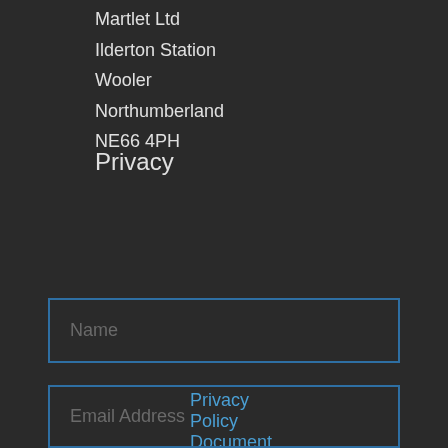Martlet Ltd
Ilderton Station
Wooler
Northumberland
NE66 4PH
Privacy
Privacy Policy Document
Name
Email Address